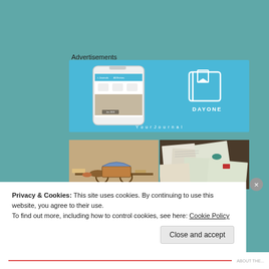Advertisements
[Figure (screenshot): DayOne app advertisement banner with blue background showing a smartphone with the app interface and the DAYONE logo on the right]
[Figure (photo): Two side-by-side photos: left shows a miniature wagon with oxen figurine in a cluttered setting; right shows papers and documents scattered on a table]
Privacy & Cookies: This site uses cookies. By continuing to use this website, you agree to their use.
To find out more, including how to control cookies, see here: Cookie Policy
Close and accept